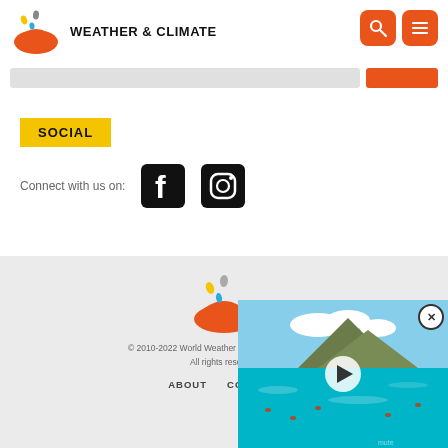WEATHER & CLIMATE
SOCIAL
Connect with us on:
[Figure (logo): Footer logo: orange umbrella with colored droplets]
© 2010-2022 World Weather & Climate Information
All rights reserved
ABOUT  CONTACT
[Figure (screenshot): Video thumbnail overlay showing Waikiki/Diamond Head scene with play button and close (X) button]